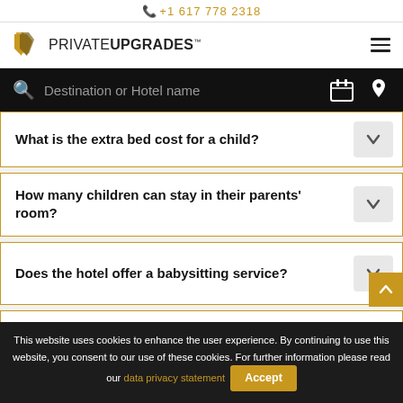+1 617 778 2318
[Figure (logo): PrivateUpgrades logo with gold shield icon and text PRIVATE UPGRADES]
Destination or Hotel name
What is the extra bed cost for a child?
How many children can stay in their parents' room?
Does the hotel offer a babysitting service?
How many restaurants does the hotel have?
This website uses cookies to enhance the user experience. By continuing to use this website, you consent to our use of these cookies. For further information please read our data privacy statement  Accept